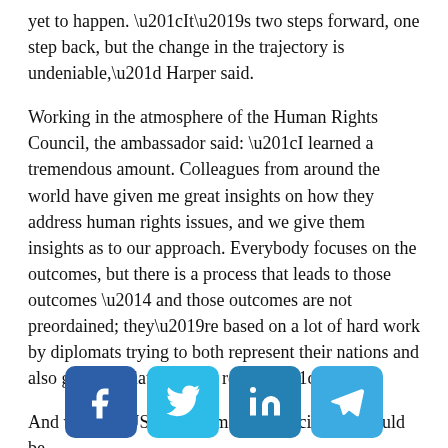yet to happen. “It’s two steps forward, one step back, but the change in the trajectory is undeniable,” Harper said.
Working in the atmosphere of the Human Rights Council, the ambassador said: “I learned a tremendous amount. Colleagues from around the world have given me great insights on how they address human rights issues, and we give them insights as to our approach. Everybody focuses on the outcomes, but there is a process that leads to those outcomes — and those outcomes are not preordained; they’re based on a lot of hard work by diplomats trying to both represent their nations and also get to a relatively just result.”
And with the US gone from the Council, what could be
[Figure (other): Social media share buttons: Facebook, Twitter, LinkedIn, Telegram]